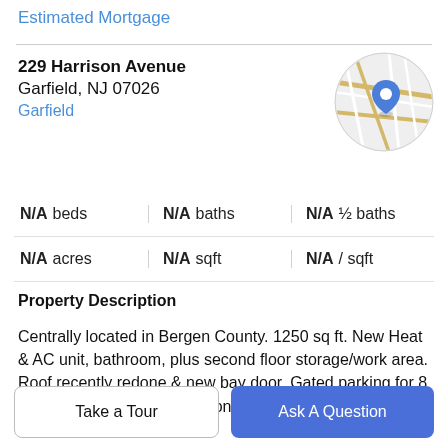Estimated Mortgage
229 Harrison Avenue
Garfield, NJ 07026
Garfield
[Figure (map): Circular map thumbnail showing street map with a blue location pin marker over the property area in Garfield, NJ.]
| N/A beds | N/A baths | N/A ½ baths |
| N/A acres | N/A sqft | N/A / sqft |
Property Description
Centrally located in Bergen County. 1250 sq ft. New Heat & AC unit, bathroom, plus second floor storage/work area. Roof recently redone & new bay door. Gated parking for 8 cars. Plenty of room to add on. Minutes to Rt 46, 80, GSP,
NJ TPK & NYC